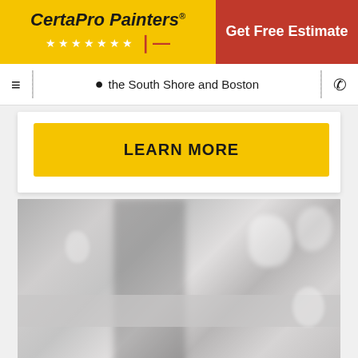CertaPro Painters® | Get Free Estimate
☰ | the South Shore and Boston | ☎
LEARN MORE
[Figure (photo): Blurry gray-tone photo of a painter working indoors, with paint supplies and blurred bokeh shapes in background]
(partial text below photo, cut off)